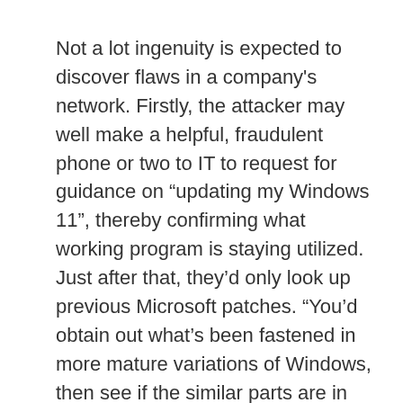Not a lot ingenuity is expected to discover flaws in a company's network. Firstly, the attacker may well make a helpful, fraudulent phone or two to IT to request for guidance on “updating my Windows 11”, thereby confirming what working program is staying utilized. Just after that, they’d only look up previous Microsoft patches. “You’d obtain out what’s been fastened in more mature variations of Windows, then see if the similar parts are in Windows 10 and 11,” suggests Kevin Curran, senior IEEE member and professor of cybersecurity at Ulster University.